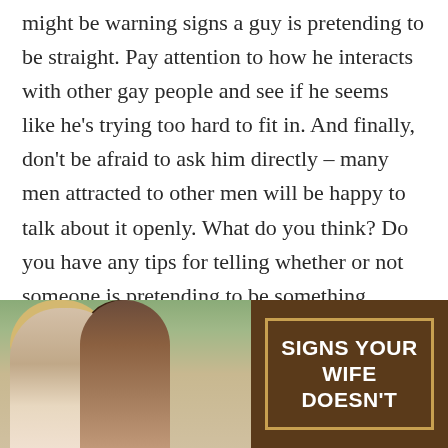might be warning signs a guy is pretending to be straight. Pay attention to how he interacts with other gay people and see if he seems like he's trying too hard to fit in. And finally, don't be afraid to ask him directly – many men attracted to other men will be happy to talk about it openly. What do you think? Do you have any tips for telling whether or not someone is pretending to be something they're not? Let me know what you think in the comments below.
[Figure (photo): Two women seen from behind in an outdoor setting, next to a brown box with text reading 'SIGNS YOUR WIFE DOESN'T']